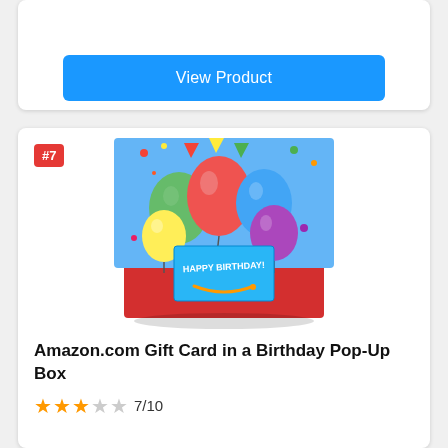View Product
[Figure (photo): Amazon.com Gift Card in a Birthday Pop-Up Box product photo showing colorful balloons on a red open box with a blue gift card inside]
Amazon.com Gift Card in a Birthday Pop-Up Box
7/10